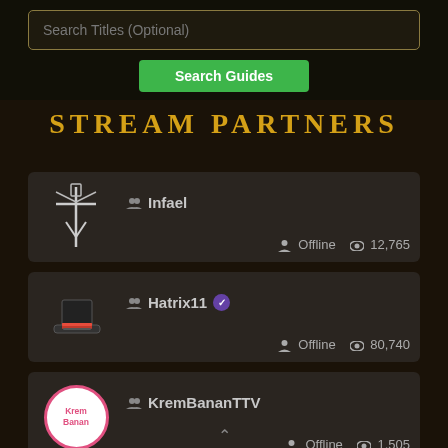Search Titles (Optional)
Search Guides
STREAM PARTNERS
Infael  Offline  12,765
Hatrix11 ✓  Offline  80,740
KremBananTTV  Offline  1,505